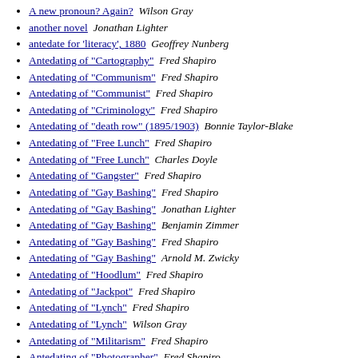A new pronoun? Again?  Wilson Gray
another novel  Jonathan Lighter
antedate for 'literacy', 1880  Geoffrey Nunberg
Antedating of "Cartography"  Fred Shapiro
Antedating of "Communism"  Fred Shapiro
Antedating of "Communist"  Fred Shapiro
Antedating of "Criminology"  Fred Shapiro
Antedating of "death row" (1895/1903)  Bonnie Taylor-Blake
Antedating of "Free Lunch"  Fred Shapiro
Antedating of "Free Lunch"  Charles Doyle
Antedating of "Gangster"  Fred Shapiro
Antedating of "Gay Bashing"  Fred Shapiro
Antedating of "Gay Bashing"  Jonathan Lighter
Antedating of "Gay Bashing"  Benjamin Zimmer
Antedating of "Gay Bashing"  Fred Shapiro
Antedating of "Gay Bashing"  Arnold M. Zwicky
Antedating of "Hoodlum"  Fred Shapiro
Antedating of "Jackpot"  Fred Shapiro
Antedating of "Lynch"  Fred Shapiro
Antedating of "Lynch"  Wilson Gray
Antedating of "Militarism"  Fred Shapiro
Antedating of "Photographer"  Fred Shapiro
Antedating of "Photographer"  Joel S. Berson
Antedating of "Populism"  Fred Shapiro